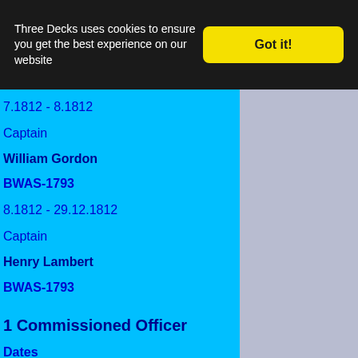Three Decks uses cookies to ensure you get the best experience on our website
Got it!
7.1812 - 8.1812
Captain
William Gordon
BWAS-1793
8.1812 - 29.12.1812
Captain
Henry Lambert
BWAS-1793
1 Commissioned Officer
Dates